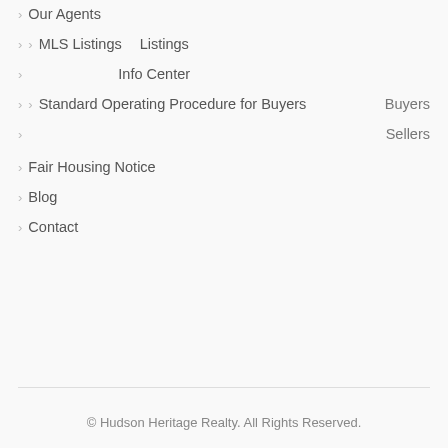> Our Agents
> > MLS Listings    Listings
>    Info Center
> > Standard Operating Procedure for Buyers    Buyers
>    Sellers
> Fair Housing Notice
> Blog
> Contact
© Hudson Heritage Realty. All Rights Reserved.